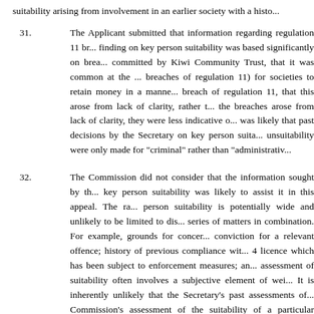suitability arising from involvement in an earlier society with a histo...
31. The Applicant submitted that information regarding regulation 11 br... finding on key person suitability was based significantly on brea... committed by Kiwi Community Trust, that it was common at the ... breaches of regulation 11) for societies to retain money in a manne... breach of regulation 11, that this arose from lack of clarity, rather t... the breaches arose from lack of clarity, they were less indicative o... was likely that past decisions by the Secretary on key person suita... unsuitability were only made for "criminal" rather than "administrativ...
32. The Commission did not consider that the information sought by th... key person suitability was likely to assist it in this appeal. The ra... person suitability is potentially wide and unlikely to be limited to dis... series of matters in combination. For example, grounds for concer... conviction for a relevant offence; history of previous compliance wit... 4 licence which has been subject to enforcement measures; an... assessment of suitability often involves a subjective element of wei... It is inherently unlikely that the Secretary's past assessments of... Commission's assessment of the suitability of a particular person.
33. The Commission was also concerned by the Applicant's charact... Trust decision as a simple breach case. The decision involved no...